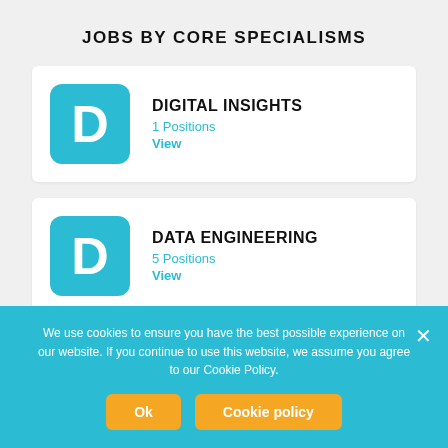JOBS BY CORE SPECIALISMS
DIGITAL INSIGHTS
1 Positions
View
DATA ENGINEERING
5 Positions
View
We use cookies to ensure you have the best possible experience on our website. If you continue to use this website, we assume you agree to our Cookie Policy.
Ok   Cookie policy